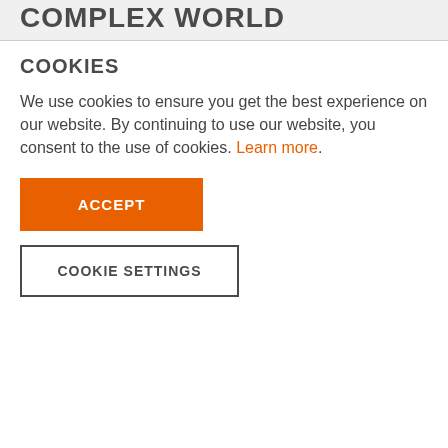COMPLEX WORLD
COOKIES
We use cookies to ensure you get the best experience on our website. By continuing to use our website, you consent to the use of cookies. Learn more.
ACCEPT
COOKIE SETTINGS